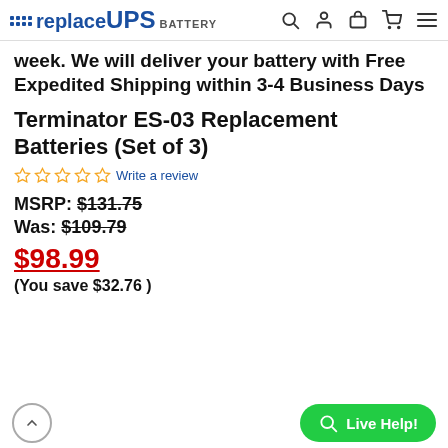replaceUPS BATTERY — navigation header
week. We will deliver your battery with Free Expedited Shipping within 3-4 Business Days
Terminator ES-03 Replacement Batteries (Set of 3)
☆☆☆☆☆ Write a review
MSRP: $131.75
Was: $109.79
$98.99
(You save $32.76 )